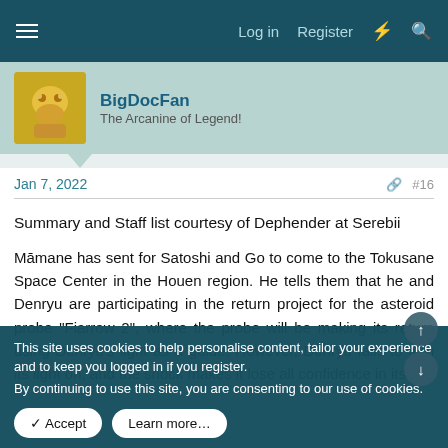Log in  Register
BigDocFan
The Arcanine of Legend!
Jan 7, 2022  #16
Summary and Staff list courtesy of Dephender at Serebii
Māmane has sent for Satoshi and Go to come to the Tokusane Space Center in the Houen region. He tells them that he and Denryu are participating in the return project for the asteroid probe "Fiarrow 2", where the probe will be making its return using Denryu's light as a guide. However, Denryu fails to turn its light on, and the shock makes it lose all confidence in itself.
This site uses cookies to help personalise content, tailor your experience and to keep you logged in if you register.
By continuing to use this site, you are consenting to our use of cookies.